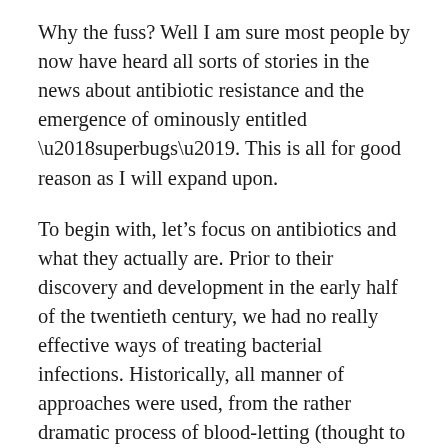Why the fuss? Well I am sure most people by now have heard all sorts of stories in the news about antibiotic resistance and the emergence of ominously entitled ‘superbugs’. This is all for good reason as I will expand upon.
To begin with, let’s focus on antibiotics and what they actually are. Prior to their discovery and development in the early half of the twentieth century, we had no really effective ways of treating bacterial infections. Historically, all manner of approaches were used, from the rather dramatic process of blood-letting (thought to stabilise the balance of the perceived four humours: blood, phlegm, yellow bile and black bile), to the use of things like